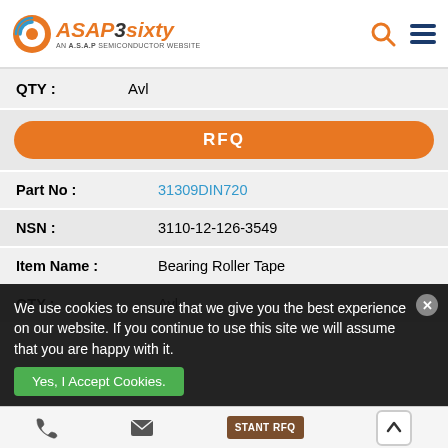[Figure (logo): ASAP3sixty logo - AN A.S.A.P SEMICONDUCTOR WEBSITE with orange and grey branding]
| QTY : | Avl |
RFQ
| Part No : | 31309DIN720 |
| NSN : | 3110-12-126-3549 |
| Item Name : | Bearing Roller Tape |
| QTY : | Avl |
We use cookies to ensure that we give you the best experience on our website. If you continue to use this site we will assume that you are happy with it.
Yes, I Accept Cookies.